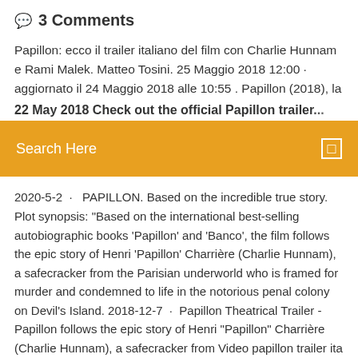3 Comments
Papillon: ecco il trailer italiano del film con Charlie Hunnam e Rami Malek. Matteo Tosini. 25 Maggio 2018 12:00 · aggiornato il 24 Maggio 2018 alle 10:55 . Papillon (2018), la
22 May 2018 Check out the official Papillon trailer...
[Figure (screenshot): Orange search bar with 'Search Here' placeholder text and a search icon on the right]
2020-5-2 · PAPILLON. Based on the incredible true story. Plot synopsis: "Based on the international best-selling autobiographic books 'Papillon' and 'Banco', the film follows the epic story of Henri 'Papillon' Charrière (Charlie Hunnam), a safecracker from the Parisian underworld who is framed for murder and condemned to life in the notorious penal colony on Devil's Island. 2018-12-7 · Papillon Theatrical Trailer - Papillon follows the epic story of Henri "Papillon" Charrière (Charlie Hunnam), a safecracker from Video papillon trailer ita - Nghe nhạc remix,